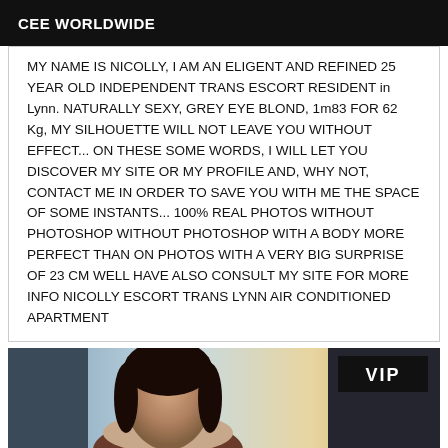CEE WORLDWIDE
MY NAME IS NICOLLY, I AM AN ELIGENT AND REFINED 25 YEAR OLD INDEPENDENT TRANS ESCORT RESIDENT in Lynn. NATURALLY SEXY, GREY EYE BLOND, 1m83 FOR 62 Kg, MY SILHOUETTE WILL NOT LEAVE YOU WITHOUT EFFECT... ON THESE SOME WORDS, I WILL LET YOU DISCOVER MY SITE OR MY PROFILE AND, WHY NOT, CONTACT ME IN ORDER TO SAVE YOU WITH ME THE SPACE OF SOME INSTANTS... 100% REAL PHOTOS WITHOUT PHOTOSHOP WITHOUT PHOTOSHOP WITH A BODY MORE PERFECT THAN ON PHOTOS WITH A VERY BIG SURPRISE OF 23 CM WELL HAVE ALSO CONSULT MY SITE FOR MORE INFO NICOLLY ESCORT TRANS LYNN AIR CONDITIONED APARTMENT
[Figure (photo): Photo of a person with dark hair, with a VIP badge in the top right corner]